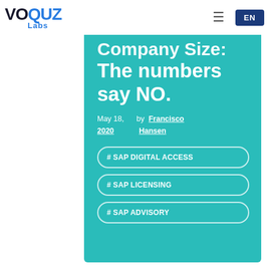VOQUZ Labs
Company Size: The numbers say NO.
May 18, 2020  by Francisco Hansen
# SAP DIGITAL ACCESS
# SAP LICENSING
# SAP ADVISORY